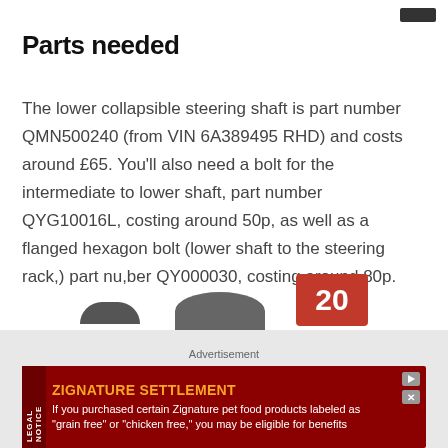Parts needed
The lower collapsible steering shaft is part number QMN500240 (from VIN 6A389495 RHD) and costs around £65. You'll also need a bolt for the intermediate to lower shaft, part number QYG10016L, costing around 50p, as well as a flanged hexagon bolt (lower shaft to the steering rack,) part nu,ber QY000030, costing around 80p.
[Figure (photo): Partial view of car parts at bottom, with red badge showing number 20]
Advertisement
[Figure (infographic): Legal notice advertisement banner for ZIGNATURE SETTLEMENT - If you purchased certain Zignature pet food products labeled as grain free or chicken free, you may be eligible for benefits]